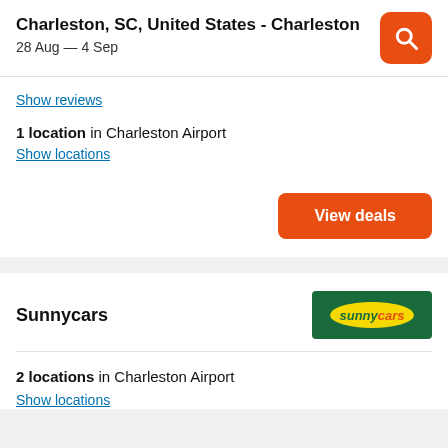Charleston, SC, United States - Charleston
28 Aug — 4 Sep
Show reviews
1 location in Charleston Airport
Show locations
View deals
Sunnycars
[Figure (logo): Sunnycars logo: yellow oval with 'sunnycars' text on green rectangle background]
2 locations in Charleston Airport
Show locations